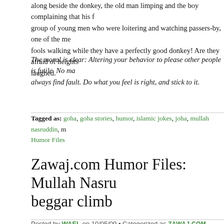along beside the donkey, the old man limping and the boy complaining that his f... group of young men who were loitering and watching passers-by, one of the me... fools walking while they have a perfectly good donkey! Are they afraid of heights... laughed.
The moral is clear: Altering your behavior to please other people is futile. No ma... always find fault. Do what you feel is right, and stick to it.
Tagged as: goha, goha stories, humor, islamic jokes, joha, mullah nasruddin, m... Humor Files
Zawaj.com Humor Files: Mullah Nasru... beggar climb
Posted by WAEL on 10/05/09 • Categorized as ZAWAJ.COM HUMOR FILES
[Figure (other): Light gray/beige rectangular image area at bottom of page]